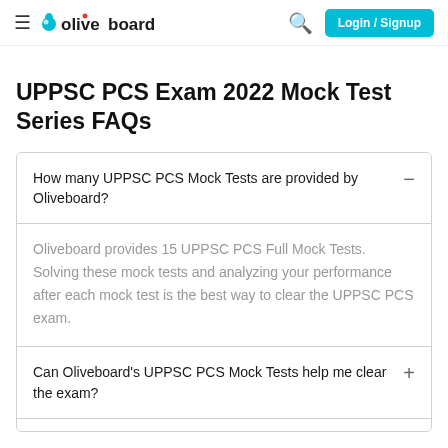oliveboard — Login / Signup
UPPSC PCS Exam 2022 Mock Test Series FAQs
How many UPPSC PCS Mock Tests are provided by Oliveboard?
Oliveboard provides 15 UPPSC PCS Full Mock Tests. Solving these mock tests and analyzing your performance after each mock test is the best way to clear the UPPSC PCS exam.
Can Oliveboard's UPPSC PCS Mock Tests help me clear the exam?